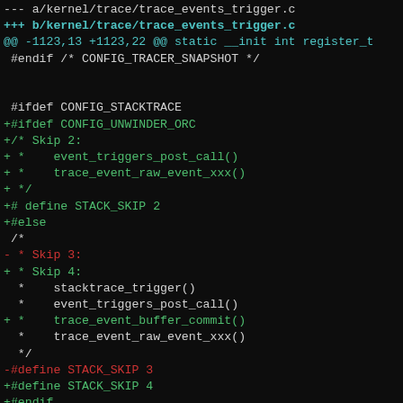[Figure (screenshot): A unified diff view of kernel/trace/trace_events_trigger.c showing additions (green lines starting with +) and deletions (red lines starting with -) on a dark/black terminal background. The diff adds ORC unwinder support for STACK_SKIP values and related comments. The bottom section shows a new diff header for trace_functions.c.]